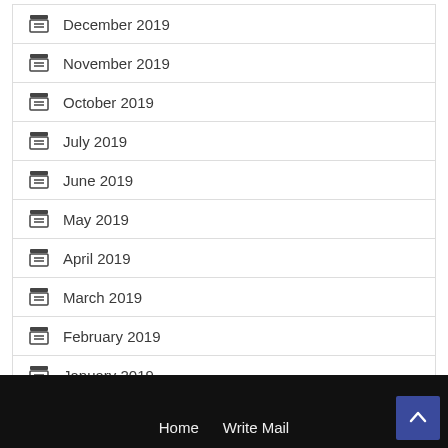December 2019
November 2019
October 2019
July 2019
June 2019
May 2019
April 2019
March 2019
February 2019
January 2019
Home   Write Mail